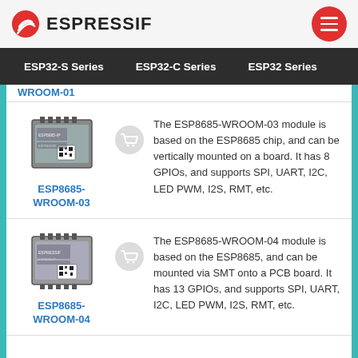ESPRESSIF
ESP32-S Series  ESP32-C Series  ESP32 Series
WROOM-01 (partial, cut off at top)
[Figure (photo): ESP8685-WROOM-03 module photo - small microcontroller module with QR code]
The ESP8685-WROOM-03 module is based on the ESP8685 chip, and can be vertically mounted on a board. It has 8 GPIOs, and supports SPI, UART, I2C, LED PWM, I2S, RMT, etc.
ESP8685-WROOM-03
[Figure (photo): ESP8685-WROOM-04 module photo - small microcontroller module with QR code]
The ESP8685-WROOM-04 module is based on the ESP8685, and can be mounted via SMT onto a PCB board. It has 13 GPIOs, and supports SPI, UART, I2C, LED PWM, I2S, RMT, etc.
ESP8685-WROOM-04